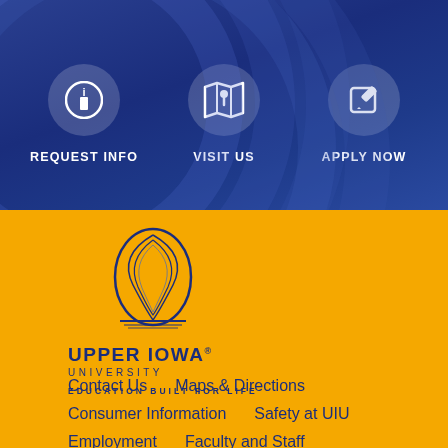[Figure (infographic): Three icon buttons on dark blue background: REQUEST INFO (info circle icon), VISIT US (map/pin icon), APPLY NOW (pencil/edit icon)]
[Figure (logo): Upper Iowa University logo: decorative swirling oval mark above text 'UPPER IOWA UNIVERSITY' and tagline 'EDUCATION BUILT FOR LIFE' on gold background]
Contact Us
Maps & Directions
Consumer Information
Safety at UIU
Employment
Faculty and Staff
Web Accessibility Statement